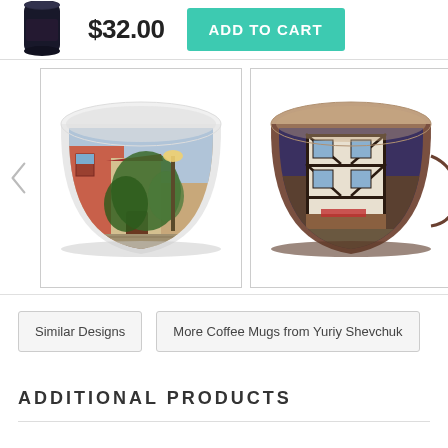[Figure (screenshot): Product thumbnail of a black coffee mug with artwork]
$32.00
ADD TO CART
[Figure (illustration): Carousel of coffee mugs with painted European street scene artwork. Left mug shows colorful street with ivy-covered building and lamp post. Right mug is brown with half-timbered building.]
Similar Designs
More Coffee Mugs from Yuriy Shevchuk
ADDITIONAL PRODUCTS